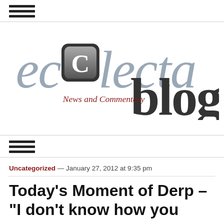[Figure (logo): Hamburger menu icon (three horizontal lines) at top left]
[Figure (logo): eclecta blog logo with 'News and Commentary' tagline]
[Figure (logo): Hamburger menu icon (three horizontal lines) in navigation bar]
Uncategorized — January 27, 2012 at 9:35 pm
Today's Moment of Derp – "I don't know how you